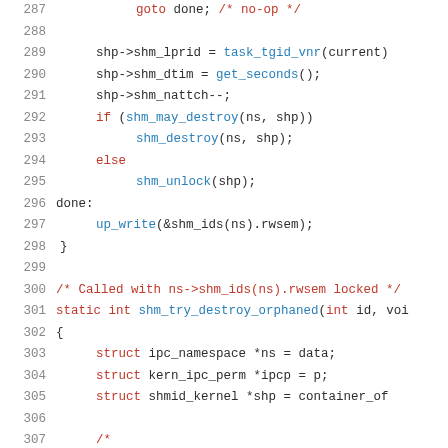[Figure (screenshot): Source code listing showing C code lines 287-307, with syntax highlighting. Keywords in red, function calls in blue, comments in red, identifiers in dark. Lines include goto, shm_lprid assignment, shm_dtim, shm_nattch, if/else with shm_may_destroy, shm_destroy, shm_unlock, done label, up_write, closing brace, comment, static int shm_try_destroy_orphaned function definition, struct declarations, and start of a block comment.]